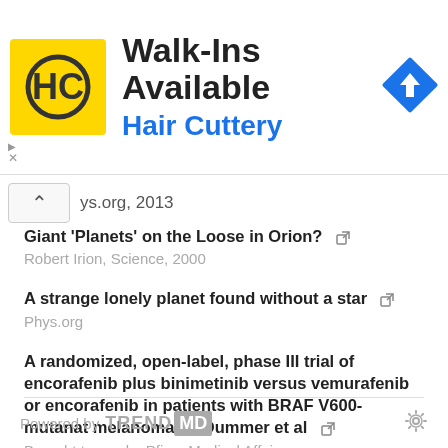[Figure (logo): Hair Cuttery advertisement banner with yellow HC logo, 'Walk-Ins Available' heading, 'Hair Cuttery' subtitle in blue, and a blue diamond navigation icon on the right]
ys.org, 2013
Giant 'Planets' on the Loose in Orion?
Robert Irion, Science, 2000
A strange lonely planet found without a star
Phys.org
A randomized, open-label, phase III trial of encorafenib plus binimetinib versus vemurafenib or encorafenib in patients with BRAF V600-mutanat melanoma by Dummer et al
Brought to you by Pfizer Medical Affairs
Free-floating Planets in Orion
Science, 2000
Powered by TRENDMD